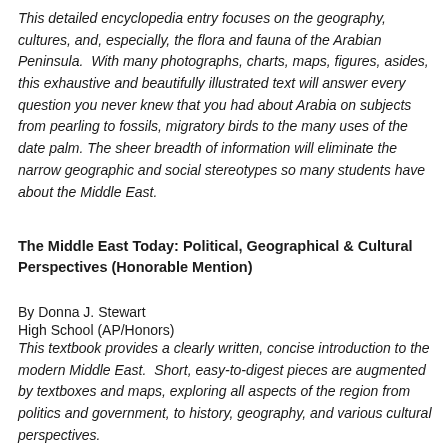This detailed encyclopedia entry focuses on the geography, cultures, and, especially, the flora and fauna of the Arabian Peninsula. With many photographs, charts, maps, figures, asides, this exhaustive and beautifully illustrated text will answer every question you never knew that you had about Arabia on subjects from pearling to fossils, migratory birds to the many uses of the date palm. The sheer breadth of information will eliminate the narrow geographic and social stereotypes so many students have about the Middle East.
The Middle East Today: Political, Geographical & Cultural Perspectives (Honorable Mention)
By Donna J. Stewart
High School (AP/Honors)
This textbook provides a clearly written, concise introduction to the modern Middle East. Short, easy-to-digest pieces are augmented by textboxes and maps, exploring all aspects of the region from politics and government, to history, geography, and various cultural perspectives.